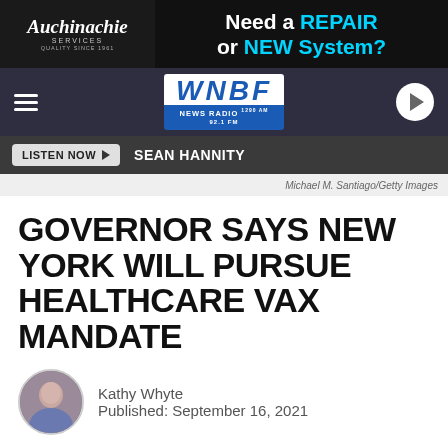[Figure (screenshot): Auchinachie Services advertisement banner - Need a REPAIR or NEW System?]
[Figure (logo): WNBF News Radio navigation bar with hamburger menu, WNBF logo, and play button]
[Figure (screenshot): Listen Now button and SEAN HANNITY text on dark bar]
Michael M. Santiago/Getty Images
GOVERNOR SAYS NEW YORK WILL PURSUE HEALTHCARE VAX MANDATE
Kathy Whyte
Published: September 16, 2021
[Figure (screenshot): Facebook Share and Twitter Tweet social sharing buttons]
[Figure (screenshot): Auchinachie Services advertisement banner - Need a REPAIR or NEW System?]